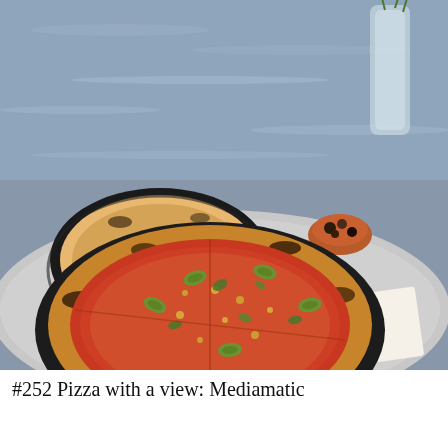[Figure (photo): Outdoor waterside restaurant table with two Neapolitan-style pizzas on black slate boards. The foreground pizza has a tomato base topped with jalapeño slices, herbs (coriander/parsley), chickpeas and dukkah. The background pizza has a white/cream base with dark greens and black olives. A small terracotta bowl of mixed olives sits between the pizzas. A glass vase with flowers and a menu/order card (upside down, reading 'Please ord...') are visible at the right. The backdrop is open water with ripples.]
#252 Pizza with a view: Mediamatic